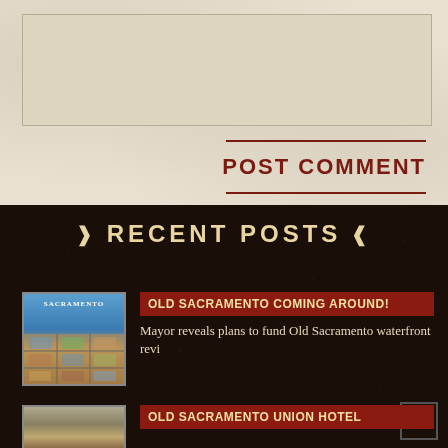[Figure (screenshot): Text input/comment box area with beige background]
POST COMMENT
RECENT POSTS
[Figure (photo): Thumbnail image of Old Sacramento map/aerial view]
OLD SACRAMENTO COMING AROUND!
Mayor reveals plans to fund Old Sacramento waterfront revi
[Figure (photo): Second post thumbnail image]
OLD SACRAMENTO UNION HOTEL